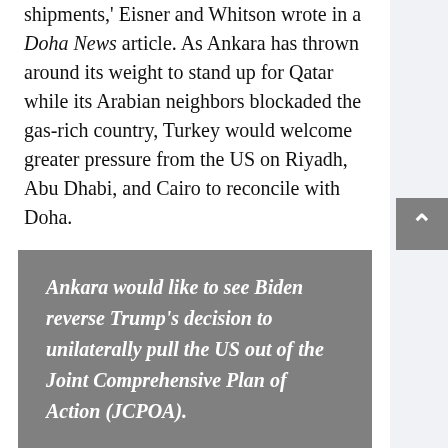shipments,' Eisner and Whitson wrote in a Doha News article. As Ankara has thrown around its weight to stand up for Qatar while its Arabian neighbors blockaded the gas-rich country, Turkey would welcome greater pressure from the US on Riyadh, Abu Dhabi, and Cairo to reconcile with Doha.
Ankara would like to see Biden reverse Trump's decision to unilaterally pull the US out of the Joint Comprehensive Plan of Action (JCPOA).
Ankara would like to see Biden reverse Trump's decision to unilaterally pull the US out of the